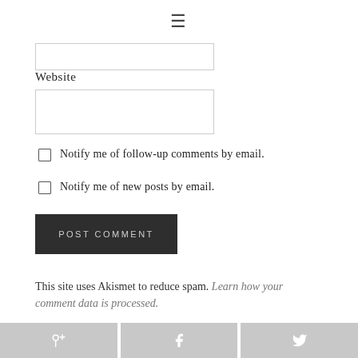[Figure (other): Hamburger menu icon (three horizontal lines) at top center]
[Figure (other): Text input field (partially visible at top, for a form field above Website)]
Website
[Figure (other): Text input field for Website URL]
Notify me of follow-up comments by email.
Notify me of new posts by email.
[Figure (other): POST COMMENT button (dark background, light text)]
This site uses Akismet to reduce spam. Learn how your comment data is processed.
[Figure (other): Social sharing buttons: Pinterest, Facebook, Twitter icons in a gray bar at bottom]